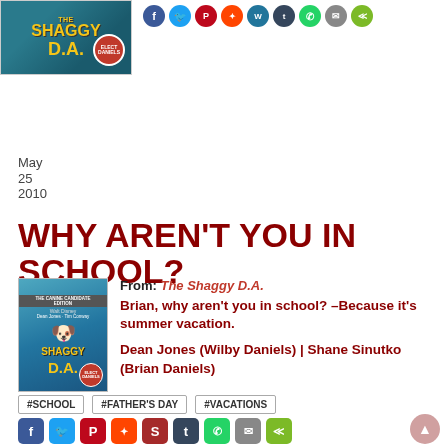[Figure (photo): Movie cover thumbnail for The Shaggy D.A. at top left with teal background and yellow title text]
[Figure (infographic): Row of social share icon circles: Facebook, Twitter, Pinterest, Reddit, WordPress, Tumblr, WhatsApp, Email, Share]
May
25
2010
WHY AREN'T YOU IN SCHOOL?
[Figure (photo): Small movie cover of The Shaggy D.A. - Canine Candidate Edition with Dean Jones and Tim Conway]
From: The Shaggy D.A.
Brian, why aren't you in school? –Because it's summer vacation.
Dean Jones (Wilby Daniels) | Shane Sinutko (Brian Daniels)
#SCHOOL
#FATHER'S DAY
#VACATIONS
[Figure (infographic): Row of social share icon squares at bottom: Facebook, Twitter, Pinterest, Reddit, StumbleUpon, Tumblr, WhatsApp, Email, Share]